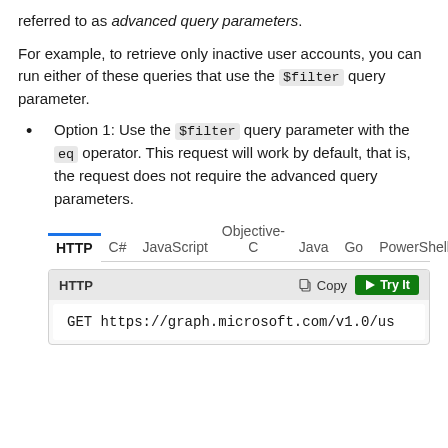referred to as advanced query parameters.
For example, to retrieve only inactive user accounts, you can run either of these queries that use the $filter query parameter.
Option 1: Use the $filter query parameter with the eq operator. This request will work by default, that is, the request does not require the advanced query parameters.
[Figure (screenshot): Tab bar showing HTTP (active, underlined in blue), C#, JavaScript, Objective-C, Java, Go, PowerShell tabs, followed by a code box with HTTP header, Copy button, Try It button, and code: GET https://graph.microsoft.com/v1.0/us]